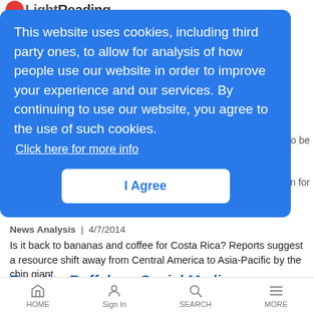LightReading
This website uses cookies, including third party ones, to allow for analysis of how people use our website in order to improve your experience and our services. By continuing to use our website, you agree to the use of such cookies. Click here for more info
I Agree
rs to be
n for
News Analysis | 4/7/2014
Is it back to bananas and coffee for Costa Rica? Reports suggest a resource shift away from Central America to Asia-Pacific by the chip giant.
Frontier Buffaloes Social Media
Rewired | 4/7/2014
HOME | Sign In | SEARCH | MORE